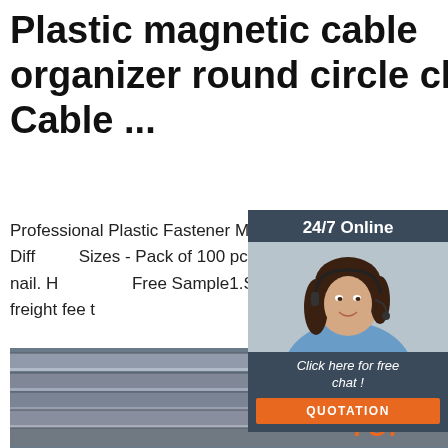Plastic magnetic cable organizer round circle clips Cable ...
Professional Plastic Fastener Manufacturer cable clip with carbon steel screw.20 Different Sizes - Pack of 100 pcs per size, include 50mm.Round cable clip with steel nail. Free Sample1.Send an inquiry to sales 2 sample is free, you only pay freight fee t
[Figure (photo): Customer service representative woman with headset, 24/7 Online chat widget with QUOTATION button]
[Figure (photo): Stack of steel pipes/tubes viewed from the side, with TOP logo overlay in orange]